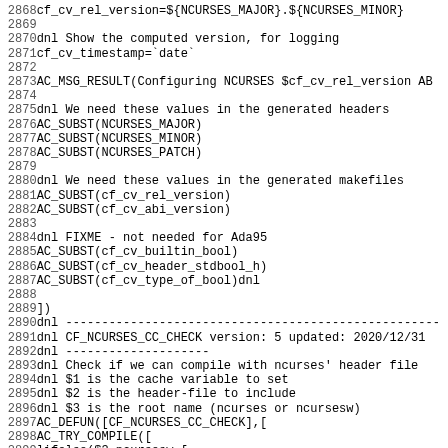Code listing lines 2868-2899 of a configure/autoconf script (ncurses)